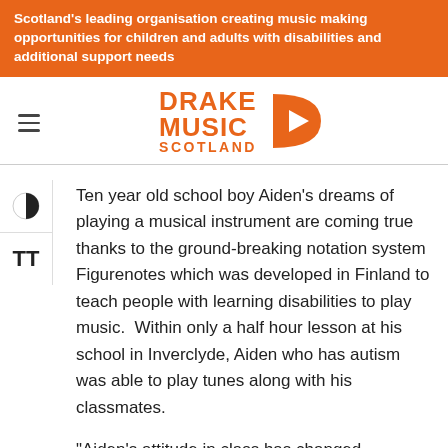Scotland's leading organisation creating music making opportunities for children and adults with disabilities and additional support needs
[Figure (logo): Drake Music Scotland logo with orange text and orange D-shape icon with play button]
Ten year old school boy Aiden’s dreams of playing a musical instrument are coming true thanks to the ground-breaking notation system Figurenotes which was developed in Finland to teach people with learning disabilities to play music. Within only a half hour lesson at his school in Inverclyde, Aiden who has autism was able to play tunes along with his classmates.
“Aiden’s attitude in class has changed completely,” says his Lilybank School music teacher Annona Thornton. “He now has the confidence of someone who has chosen the same class affecting contributions